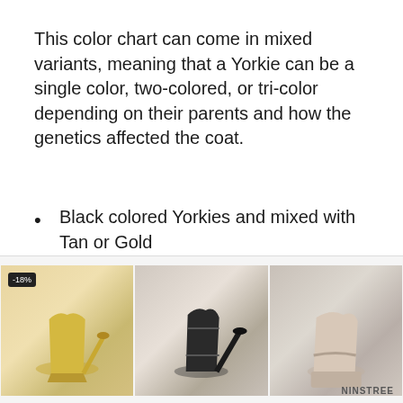This color chart can come in mixed variants, meaning that a Yorkie can be a single color, two-colored, or tri-color depending on their parents and how the genetics affected the coat.
Black colored Yorkies and mixed with Tan or Gold
Tan colored Yorkie and mixed with Black or Blue
Blue colored Yorkie and mixed with
[Figure (photo): Advertisement banner showing three images of women's heeled shoes: yellow pumps with -18% badge, black strappy heels, and beige block heels. NINSTREE brand logo visible.]